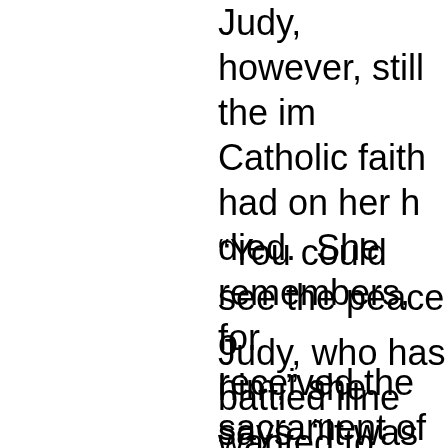Judy, however, still the impact Catholic faith had on her husband as he died.  She remembers, for example, that he received the sacrament of the anointing of the sick.
“You could see the peace come over him,” she says. “It was just…”
Judy, who has battled illness herself, wanted to experience what her husband found.